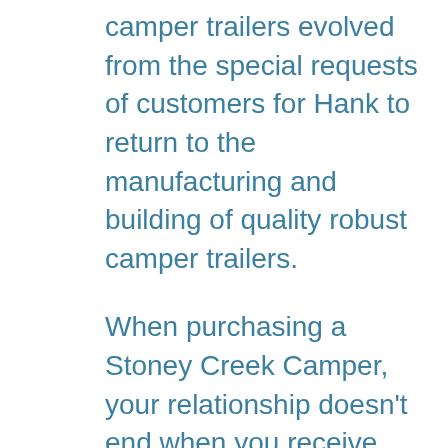camper trailers evolved from the special requests of customers for Hank to return to the manufacturing and building of quality robust camper trailers.
When purchasing a Stoney Creek Camper, your relationship doesn't end when you receive your trailer as Stoney Creek's after-sale service and support is second to none. The team ensure all their customers are well looked after long after the sale has been made and they love to see their customers returning for service support as the